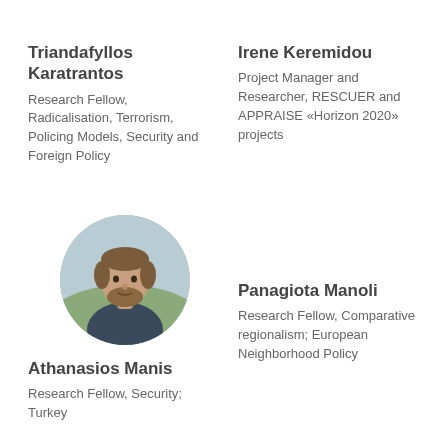Triandafyllos Karatrantos
Research Fellow, Radicalisation, Terrorism, Policing Models, Security and Foreign Policy
Irene Keremidou
Project Manager and Researcher, RESCUER and APPRAISE «Horizon 2020» projects
[Figure (photo): Circular portrait photo of Athanasios Manis, a man with a beard wearing a dark jacket, outdoors background]
Athanasios Manis
Research Fellow, Security; Turkey
Panagiota Manoli
Research Fellow, Comparative regionalism; European Neighborhood Policy